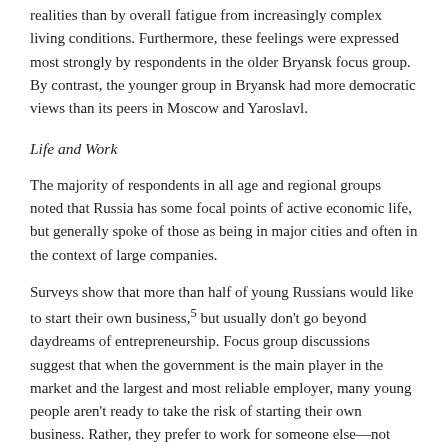realities than by overall fatigue from increasingly complex living conditions. Furthermore, these feelings were expressed most strongly by respondents in the older Bryansk focus group. By contrast, the younger group in Bryansk had more democratic views than its peers in Moscow and Yaroslavl.
Life and Work
The majority of respondents in all age and regional groups noted that Russia has some focal points of active economic life, but generally spoke of those as being in major cities and often in the context of large companies.
Surveys show that more than half of young Russians would like to start their own business,5 but usually don't go beyond daydreams of entrepreneurship. Focus group discussions suggest that when the government is the main player in the market and the largest and most reliable employer, many young people aren't ready to take the risk of starting their own business. Rather, they prefer to work for someone else—not because it is a great option, but because all the